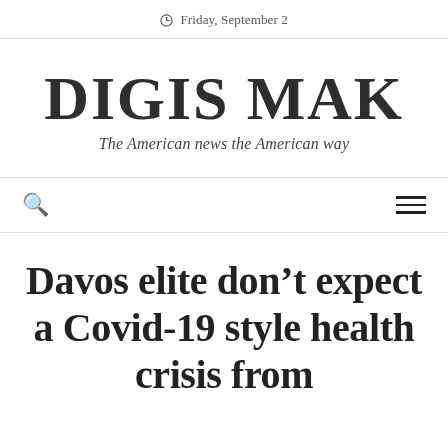Friday, September 2
DIGIS MAK
The American news the American way
Davos elite don't expect a Covid-19 style health crisis from